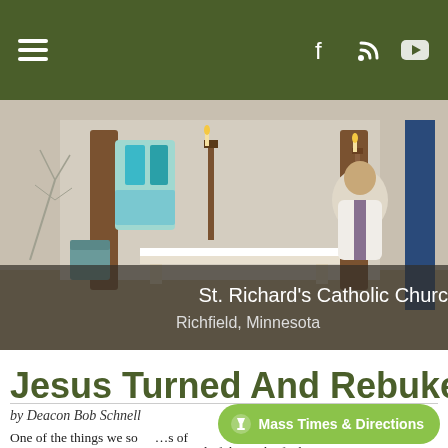Navigation bar with hamburger menu and social icons (Facebook, RSS, YouTube)
[Figure (photo): Interior of St. Richard's Catholic Church showing the altar area with candles, stained glass window, and a priest in vestments. Overlay text reads 'St. Richard's Catholic Church, Richfield, Minnesota']
Jesus Turned And Rebuked T
by Deacon Bob Schnell
One of the things we so... ...s of proportion. We can get so convinced of the truth of wh
Mass Times & Directions